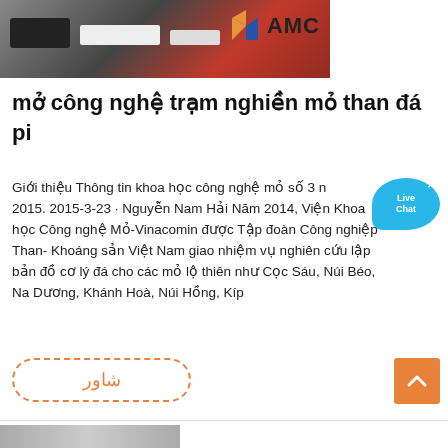[Figure (photo): Industrial machine photo with AMC logo overlay in top-left portion of page]
mở công nghệ trạm nghiền mỏ than đá pi
Giới thiệu Thông tin khoa học công nghệ mỏ số 3 n 2015. 2015-3-23 · Nguyễn Nam Hải Năm 2014, Viện Khoa học Công nghệ Mỏ-Vinacomin được Tập đoàn Công nghiệp Than- Khoáng sản Việt Nam giao nhiệm vụ nghiên cứu lập bản đồ cơ lý đá cho các mỏ lộ thiên như Cọc Sáu, Núi Béo, Na Dương, Khánh Hoà, Núi Hồng, Kíp
[Figure (other): Live Chat bubble widget]
شاور
[Figure (other): Orange scroll-to-top button with chevron up arrow]
[Figure (photo): Partial bottom image, partially visible]